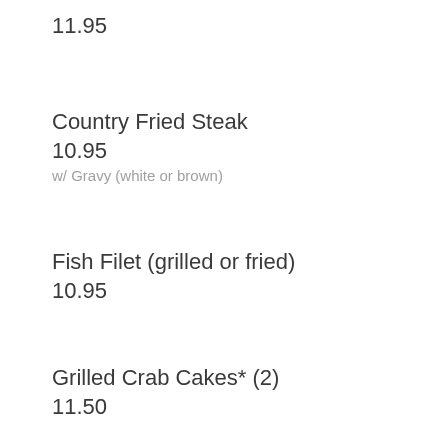11.95
Country Fried Steak
10.95
w/ Gravy (white or brown)
Fish Filet (grilled or fried)
10.95
Grilled Crab Cakes* (2)
11.50